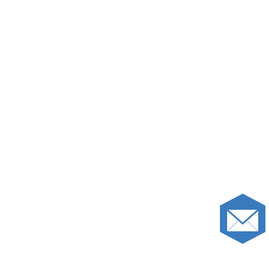loan since 2008. Although some interim dra proceeding, a trial was held in 2013. BofA court: the original note, the mortgage, and a assignment of the mortgage from MERS to entity that subsequently merged with BofA. of FORECLOSURE IN favor of BofA and Greenleaf alleged, among other things, that the property since BofA did not have an inte mortgage securing that note. Since the note possession of the note, the Maine Supreme the standing test. However, the court found prong of the test, ownership of the mortgag
The court struggled with the 2011 assignme court focused on one sentence in the 2006 MERS was the mortgagee of record for pur held that this provision of the mortgage only mortgage as the lender's nominee. When M court held that it granted BAC only the right mortgage as nominee for the lender. When obtained the right that BAC had possessed, nominee. The court also noted that there w of the mortgage from RMS to BAC, record only demonstrated a assig nominee. In the absence of that B Maine Supreme Court held that BofA lacke
[Figure (illustration): Blue hexagonal email/envelope icon overlay in lower center-right area of the page]